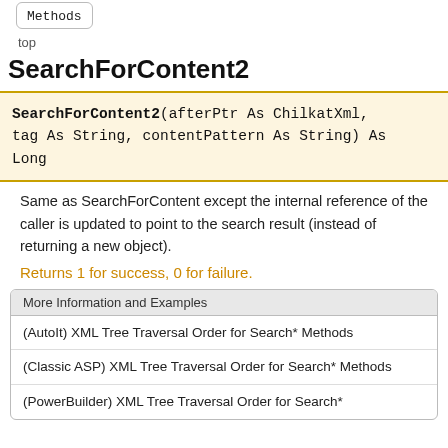Methods
top
SearchForContent2
SearchForContent2(afterPtr As ChilkatXml, tag As String, contentPattern As String) As Long
Same as SearchForContent except the internal reference of the caller is updated to point to the search result (instead of returning a new object).
Returns 1 for success, 0 for failure.
More Information and Examples
(AutoIt) XML Tree Traversal Order for Search* Methods
(Classic ASP) XML Tree Traversal Order for Search* Methods
(PowerBuilder) XML Tree Traversal Order for Search*